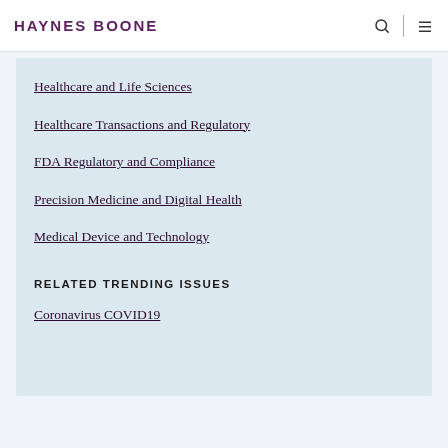HAYNES BOONE
Healthcare and Life Sciences
Healthcare Transactions and Regulatory
FDA Regulatory and Compliance
Precision Medicine and Digital Health
Medical Device and Technology
RELATED TRENDING ISSUES
Coronavirus COVID19